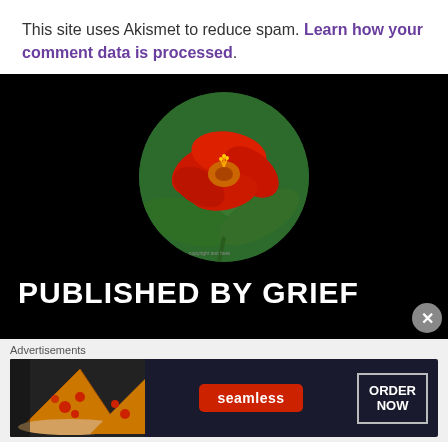This site uses Akismet to reduce spam. Learn how your comment data is processed.
[Figure (photo): Circular cropped photo of a red nasturtium flower with green leaves on a black background, with text 'PUBLISHED BY GRIEF' below in white bold font.]
Advertisements
[Figure (photo): Seamless food delivery advertisement banner showing pizza slices on the left, Seamless logo in red center, and 'ORDER NOW' button on the right, on a dark background.]